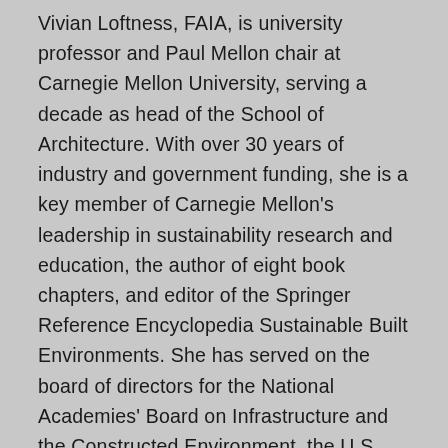Vivian Loftness, FAIA, is university professor and Paul Mellon chair at Carnegie Mellon University, serving a decade as head of the School of Architecture. With over 30 years of industry and government funding, she is a key member of Carnegie Mellon's leadership in sustainability research and education, the author of eight book chapters, and editor of the Springer Reference Encyclopedia Sustainable Built Environments. She has served on the board of directors for the National Academies' Board on Infrastructure and the Constructed Environment, the U.S. Green Building Council, AIACOTE, Phipps Conservatory, WELL Living Lab, and the International Living Future Institute. Vivian is a LEED fellow, NIBS fellow, senior fellow of the Design Futures Council, and one of the UK Building Research Establishment's 13 Stars of Building Science.